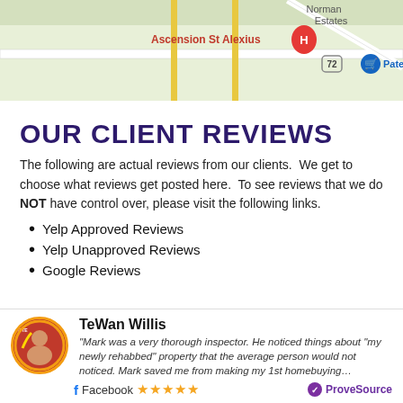[Figure (screenshot): Google Maps screenshot showing Ascension St Alexius location with roads and nearby landmarks including Patel B and highway 72]
OUR CLIENT REVIEWS
The following are actual reviews from our clients.  We get to choose what reviews get posted here.  To see reviews that we do NOT have control over, please visit the following links.
Yelp Approved Reviews
Yelp Unapproved Reviews
Google Reviews
TeWan Willis — "Mark was a very thorough inspector. He noticed things about "my newly rehabbed" property that the average person would not noticed. Mark saved me from making my 1st homebuying…" — Facebook ★★★★★ — ProveSource